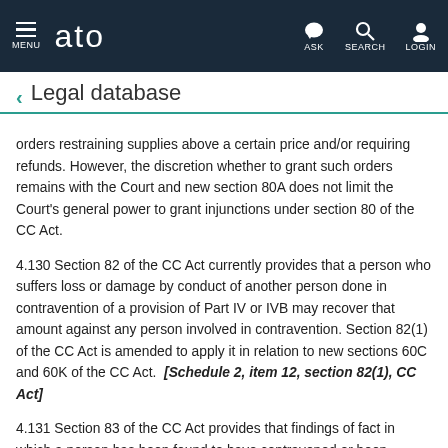ato — MENU | ASK | SEARCH | LOGIN
Legal database
orders restraining supplies above a certain price and/or requiring refunds. However, the discretion whether to grant such orders remains with the Court and new section 80A does not limit the Court's general power to grant injunctions under section 80 of the CC Act.
4.130 Section 82 of the CC Act currently provides that a person who suffers loss or damage by conduct of another person done in contravention of a provision of Part IV or IVB may recover that amount against any person involved in contravention. Section 82(1) of the CC Act is amended to apply it in relation to new sections 60C and 60K of the CC Act. [Schedule 2, item 12, section 82(1), CC Act]
4.131 Section 83 of the CC Act provides that findings of fact in which a person has been found to have contravened or been involved in a contravention of Part IV or Part IVB of the CC Act is prima facie